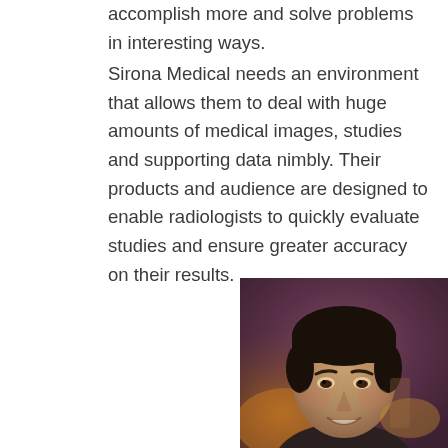accomplish more and solve problems in interesting ways.
Sirona Medical needs an environment that allows them to deal with huge amounts of medical images, studies and supporting data nimbly. Their products and audience are designed to enable radiologists to quickly evaluate studies and ensure greater accuracy on their results.
[Figure (photo): Portrait photo of a young man with dark hair, smiling, in an indoor setting with warm amber lighting in the background.]